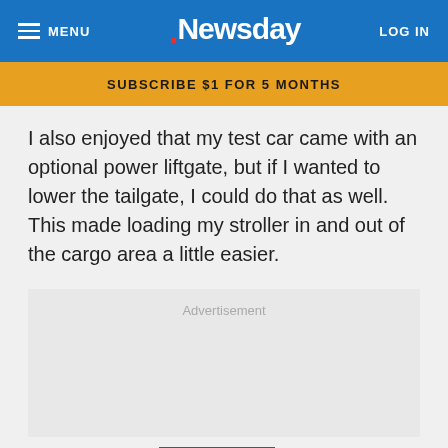MENU | Newsday | LOG IN
SUBSCRIBE $1 FOR 5 MONTHS
I also enjoyed that my test car came with an optional power liftgate, but if I wanted to lower the tailgate, I could do that as well. This made loading my stroller in and out of the cargo area a little easier.
Advertisement
[Figure (logo): Digital Crossword checkerboard logo with PLAY NOW button and Newsday logo]